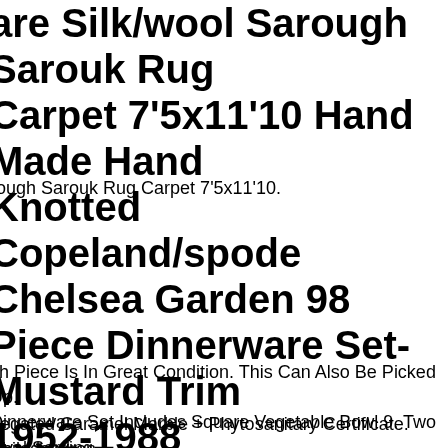are Silk/wool Sarough Sarouk Rug Carpet 7'5x11'10 Hand Made Hand Knotted
rough Sarouk Rug Carpet 7'5x11'10.
Copeland/spode Chelsea Garden 98 Piece Dinnerware Set- Mustard Trim 1952-1988
ch Piece Is In Great Condition. This Can Also Be Picked Up. Dinnerware Set Includes Square Vegetable Bowl 9. Two Oval Serving Bowls 9 68. Double Handled Flat Soup Bowl 5. Two Soup Saucers 7.
riegated Caramel Marble + Phytosanitary Certificate. Philodendron Florida Beauty Variegated. - The Plant We Will Send Is 1 Leaf With On